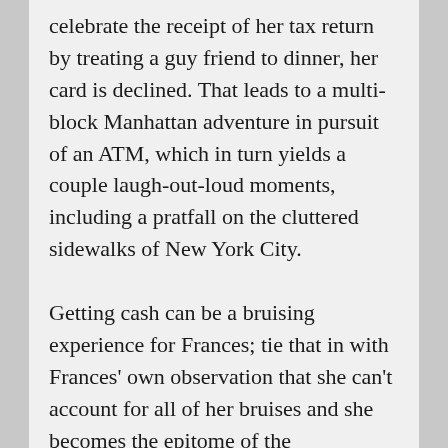celebrate the receipt of her tax return by treating a guy friend to dinner, her card is declined. That leads to a multi-block Manhattan adventure in pursuit of an ATM, which in turn yields a couple laugh-out-loud moments, including a pratfall on the cluttered sidewalks of New York City.

Getting cash can be a bruising experience for Frances; tie that in with Frances' own observation that she can't account for all of her bruises and she becomes the epitome of the